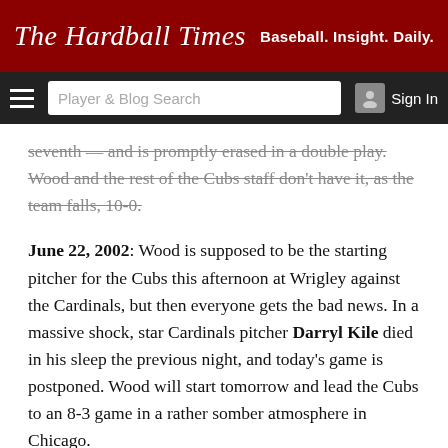The Hardball Times — Baseball. Insight. Daily.
seventh — and is promptly erased in a double play. Wood and the rest of the Cubs staff don't have it, as the team falls, 10-0.
June 22, 2002: Wood is supposed to be the starting pitcher for the Cubs this afternoon at Wrigley against the Cardinals, but then everyone gets the bad news. In a massive shock, star Cardinals pitcher Darryl Kile died in his sleep the previous night, and today's game is postponed. Wood will start tomorrow and lead the Cubs to an 8-3 game in a rather somber atmosphere in Chicago.
Sept. 2, 2002: Wood makes the history books with a four-